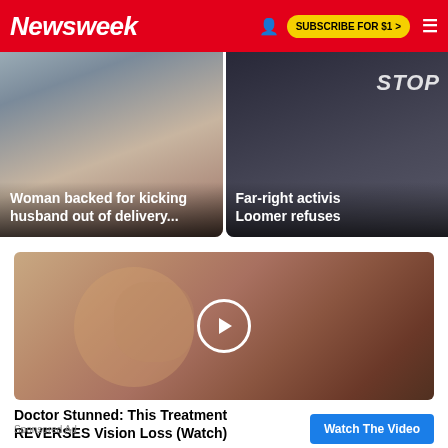Newsweek — SUBSCRIBE FOR $1 >
[Figure (photo): News card: Woman in hospital bed — 'Woman backed for kicking husband out of delivery...']
[Figure (photo): News card: Far-right activist with STOP text visible — 'Far-right activist Loomer refuses']
[Figure (photo): Video ad thumbnail: Woman covering one eye with hand, wearing glasses — play button overlay]
Doctor Stunned: This Treatment REVERSES Vision Loss (Watch)
Sponsored Ad
Watch The Video